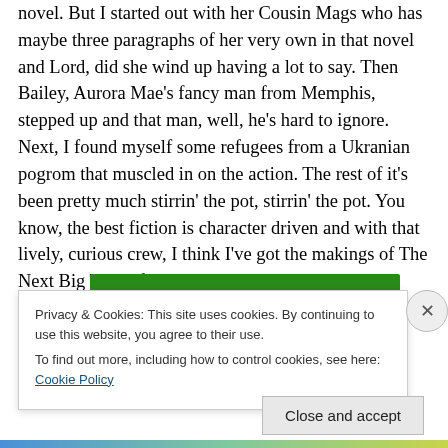novel. But I started out with her Cousin Mags who has maybe three paragraphs of her very own in that novel and Lord, did she wind up having a lot to say. Then Bailey, Aurora Mae's fancy man from Memphis, stepped up and that man, well, he's hard to ignore. Next, I found myself some refugees from a Ukranian pogrom that muscled in on the action. The rest of it's been pretty much stirrin' the pot, stirrin' the pot. You know, the best fiction is character driven and with that lively, curious crew, I think I've got the makings of The Next Big Thing for sure.
[Figure (other): Green navigation bar element from a website]
Privacy & Cookies: This site uses cookies. By continuing to use this website, you agree to their use.
To find out more, including how to control cookies, see here: Cookie Policy
Close and accept